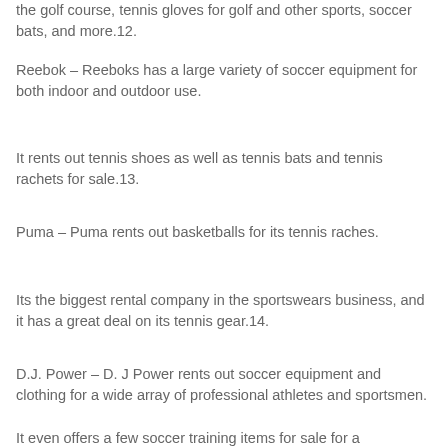the golf course, tennis gloves for golf and other sports, soccer bats, and more.12.
Reebok – Reeboks has a large variety of soccer equipment for both indoor and outdoor use.
It rents out tennis shoes as well as tennis bats and tennis rachets for sale.13.
Puma – Puma rents out basketballs for its tennis raches.
Its the biggest rental company in the sportswears business, and it has a great deal on its tennis gear.14.
D.J. Power – D. J Power rents out soccer equipment and clothing for a wide array of professional athletes and sportsmen.
It even offers a few soccer training items for sale for a